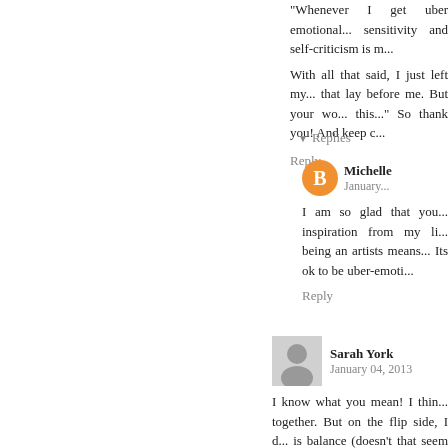Whenever I get uber emotional... sensitivity and self-criticism is m...
With all that said, I just left my... that lay before me. But your wo... this..." So thank you! And keep c...
Reply
▾ Replies
Michelle  January...
I am so glad that you... inspiration from my li... being an artists means... Its ok to be uber-emoti...
Reply
Sarah York  January 04, 2013
I know what you mean! I thin... together. But on the flip side, I d... is balance (doesn't that seem to b... your paintings and like hearing... someone prettier, skinnier, blogg...
Reply